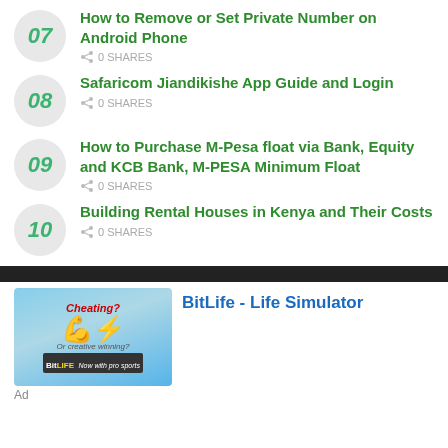07 How to Remove or Set Private Number on Android Phone — 0 SHARES
08 Safaricom Jiandikishe App Guide and Login — 0 SHARES
09 How to Purchase M-Pesa float via Bank, Equity and KCB Bank, M-PESA Minimum Float — 0 SHARES
10 Building Rental Houses in Kenya and Their Costs — 0 SHARES
[Figure (screenshot): Advertisement banner for BitLife - Life Simulator app showing a flexing arm emoji and text 'Cheating? Or creative winning?' with the BitLife logo and tagline 'Now with pro sports']
BitLife - Life Simulator
Ad